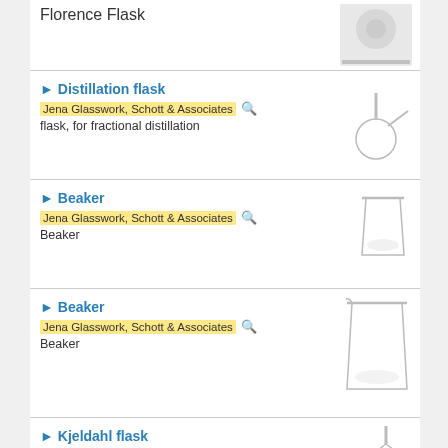Florence Flask
[Figure (photo): Photo of a Florence Flask]
Distillation flask
Jena Glasswork, Schott & Associates
flask, for fractional distillation
[Figure (illustration): Illustration of a distillation flask]
Beaker
Jena Glasswork, Schott & Associates
Beaker
[Figure (illustration): Illustration of a beaker (smaller)]
Beaker
Jena Glasswork, Schott & Associates
Beaker
[Figure (illustration): Illustration of a beaker (larger)]
Kjeldahl flask
Jena Glasswork, Schott & Associates
[Figure (illustration): Illustration of a Kjeldahl flask (partial)]